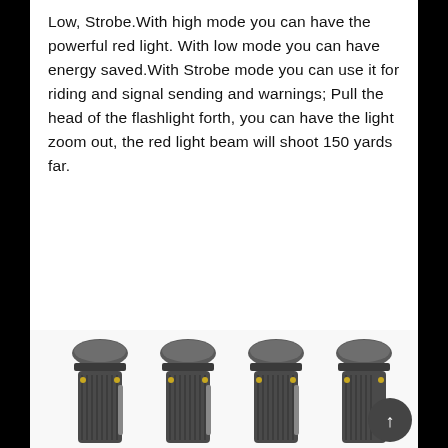Low, Strobe.With high mode you can have the powerful red light. With low mode you can have energy saved.With Strobe mode you can use it for riding and signal sending and warnings; Pull the head of the flashlight forth, you can have the light zoom out, the red light beam will shoot 150 yards far.
TWO flashlights are included in the package. The flashlight is powered by 1 x AA battery (battery are not included in the package).
[Figure (photo): Four dark metallic flashlights shown side by side from a top-angled view, with gold accent screws visible, partially cut off at the bottom of the page.]